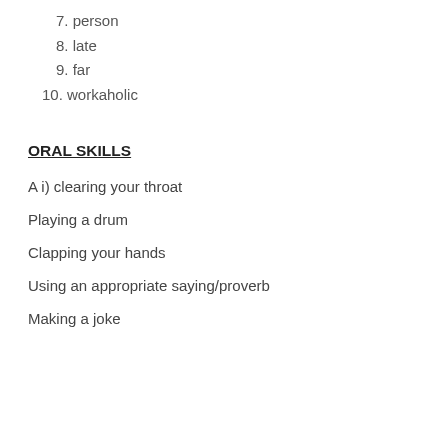7. person
8. late
9. far
10. workaholic
ORAL SKILLS
A i) clearing your throat
Playing a drum
Clapping your hands
Using an appropriate saying/proverb
Making a joke